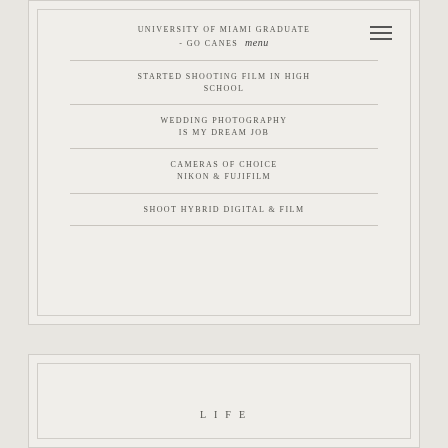UNIVERSITY OF MIAMI GRADUATE - GO CANES
STARTED SHOOTING FILM IN HIGH SCHOOL
WEDDING PHOTOGRAPHY IS MY DREAM JOB
CAMERAS OF CHOICE NIKON & FUJIFILM
SHOOT HYBRID DIGITAL & FILM
LIFE